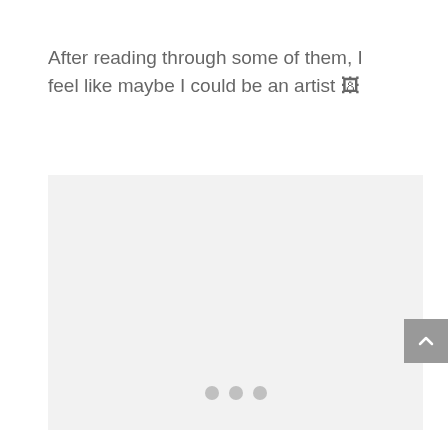After reading through some of them, I feel like maybe I could be an artist 🖼
[Figure (other): Light gray image placeholder area with three gray dots at the bottom center indicating a slideshow or carousel, and a gray scroll-to-top button at the bottom right.]